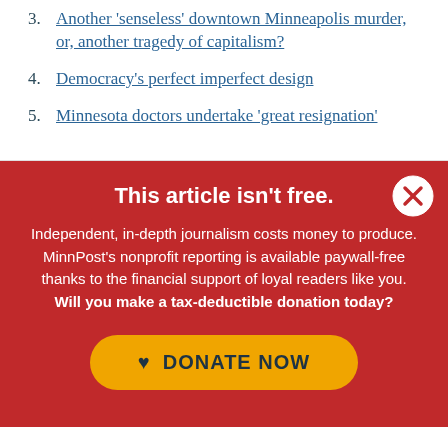3. Another ‘senseless’ downtown Minneapolis murder, or, another tragedy of capitalism?
4. Democracy's perfect imperfect design
5. Minnesota doctors undertake ‘great resignation’
This article isn't free.
Independent, in-depth journalism costs money to produce. MinnPost’s nonprofit reporting is available paywall-free thanks to the financial support of loyal readers like you. Will you make a tax-deductible donation today?
DONATE NOW